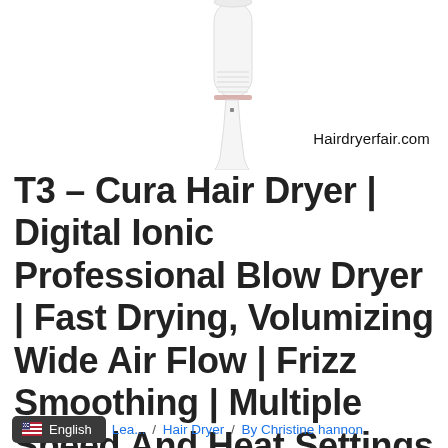[Figure (photo): White T3 Cura hair dryer angled with handle at bottom, barrel pointing upper right, on white background. Product appears sleek white with a small rose gold accent ring near the handle.]
Hairdryerfair.com
T3 – Cura Hair Dryer | Digital Ionic Professional Blow Dryer | Fast Drying, Volumizing Wide Air Flow | Frizz Smoothing | Multiple Speed And Heat Settings | Cool Shot
Lea... / Hair Dryer / By Christine hannon